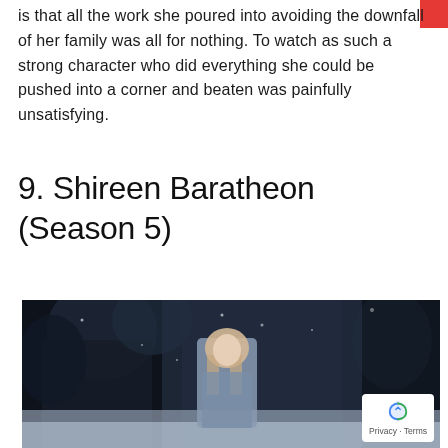is that all the work she poured into avoiding the downfall of her family was all for nothing. To watch as such a strong character who did everything she could be pushed into a corner and beaten was painfully unsatisfying.
9. Shireen Baratheon (Season 5)
[Figure (photo): A young blonde girl in a glittery silver dress stands in the foreground surrounded by dark-cloaked figures in a snowy, dark setting. A reCAPTCHA Privacy/Terms overlay appears in the bottom-right corner.]